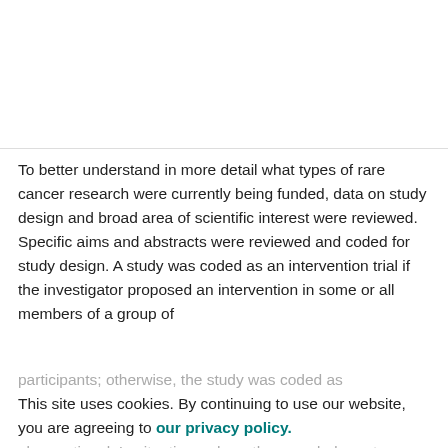Advertisement
To better understand in more detail what types of rare cancer research were currently being funded, data on study design and broad area of scientific interest were reviewed. Specific aims and abstracts were reviewed and coded for study design. A study was coded as an intervention trial if the investigator proposed an intervention in some or all members of a group of participants; otherwise, the study was coded as observational. In situations where the awarded grant included both intervention and observational components, the grant was coded as an intervention trial.
This site uses cookies. By continuing to use our website, you are agreeing to our privacy policy. Accept